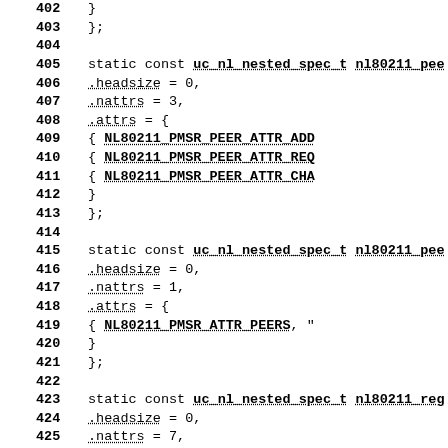Source code listing showing C static const struct definitions for nl80211 nested spec types, lines 402-432
402     }
403 };
404
405 static const uc_nl_nested_spec_t nl80211_pee
406         .headsize = 0,
407         .nattrs = 3,
408         .attrs = {
409                 { NL80211_PMSR_PEER_ATTR_ADD
410                 { NL80211_PMSR_PEER_ATTR_REQ
411                 { NL80211_PMSR_PEER_ATTR_CHA
412         }
413 };
414
415 static const uc_nl_nested_spec_t nl80211_pee
416         .headsize = 0,
417         .nattrs = 1,
418         .attrs = {
419                 { NL80211_PMSR_ATTR_PEERS, "
420         }
421 };
422
423 static const uc_nl_nested_spec_t nl80211_reg
424         .headsize = 0,
425         .nattrs = 7,
426         .attrs = {
427                 { NL80211_ATTR_REG_RULE_FLAG
428                 { NL80211_ATTR_FREQ_RANGE_ST
429                 { NL80211_ATTR_FREQ_RANGE_EN
430                 { NL80211_ATTR_FREQ_RANGE_MA
431                 { NL80211_ATTR_POWER_RULE_MA
432                 { NL80211_ATTR_POWER_RULE_